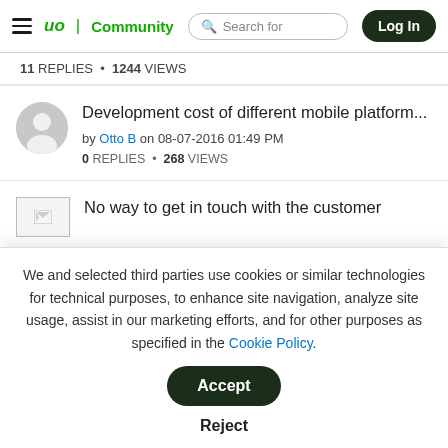uo Community | Search for | Log In
11 REPLIES • 1244 VIEWS
Development cost of different mobile platform... by Otto B on 08-07-2016 01:49 PM
0 REPLIES • 268 VIEWS
No way to get in touch with the customer
We and selected third parties use cookies or similar technologies for technical purposes, to enhance site navigation, analyze site usage, assist in our marketing efforts, and for other purposes as specified in the Cookie Policy.
Accept
Reject